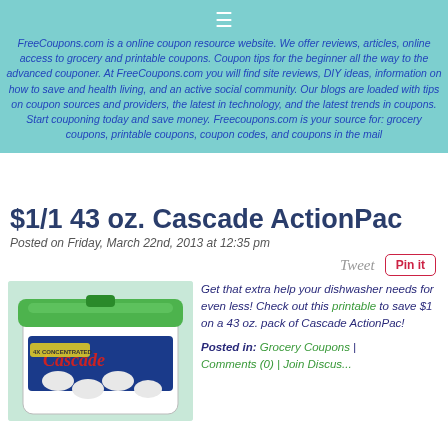FreeCoupons.com is a online coupon resource website. We offer reviews, articles, online access to grocery and printable coupons. Coupon tips for the beginner all the way to the advanced couponer. At FreeCoupons.com you will find site reviews, DIY ideas, information on how to save and health living, and an active social community. Our blogs are loaded with tips on coupon sources and providers, the latest in technology, and the latest trends in coupons. Start couponing today and save money. Freecoupons.com is your source for: grocery coupons, printable coupons, coupon codes, and coupons in the mail
$1/1 43 oz. Cascade ActionPac
Posted on Friday, March 22nd, 2013 at 12:35 pm
[Figure (photo): Container of Cascade ActionPac dishwasher detergent pods, green lid, white container with Cascade branding]
Get that extra help your dishwasher needs for even less! Check out this printable to save $1 on a 43 oz. pack of Cascade ActionPac!
Posted in: Grocery Coupons | Comments (0) | Join Discussion